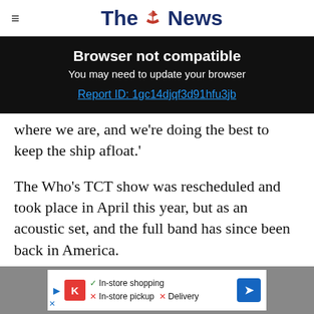The News
Browser not compatible
You may need to update your browser
Report ID: 1gc14djqf3d91hfu3jb
where we are, and we're doing the best to keep the ship afloat.'
The Who's TCT show was rescheduled and took place in April this year, but as an acoustic set, and the full band has since been back in America.
[Figure (screenshot): Advertisement banner with Kroger logo, In-store shopping checkmark, In-store pickup X, Delivery X, and navigation arrow icon]